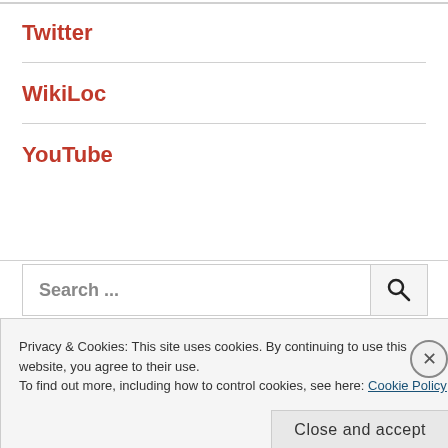Twitter
WikiLoc
YouTube
Search ...
Privacy & Cookies: This site uses cookies. By continuing to use this website, you agree to their use.
To find out more, including how to control cookies, see here: Cookie Policy
Close and accept